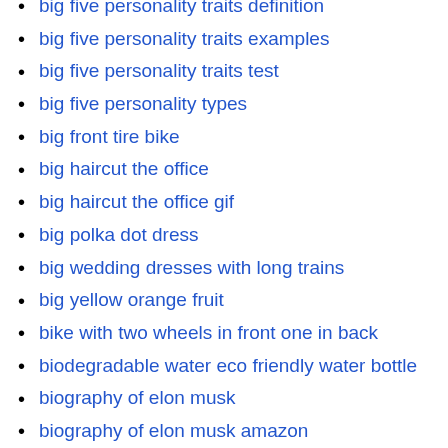big five personality traits definition
big five personality traits examples
big five personality traits test
big five personality types
big front tire bike
big haircut the office
big haircut the office gif
big polka dot dress
big wedding dresses with long trains
big yellow orange fruit
bike with two wheels in front one in back
biodegradable water eco friendly water bottle
biography of elon musk
biography of elon musk amazon
biography of elon musk book
biography of elon musk edition